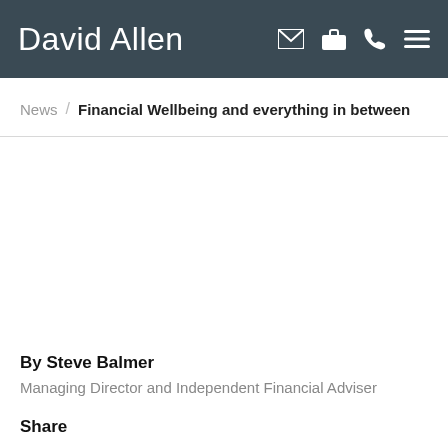David Allen
News / Financial Wellbeing and everything in between
By Steve Balmer
Managing Director and Independent Financial Adviser
Share